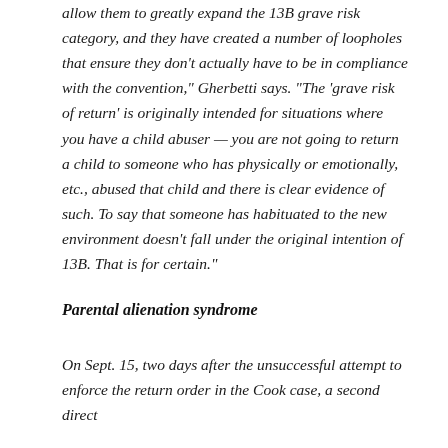allow them to greatly expand the 13B grave risk category, and they have created a number of loopholes that ensure they don't actually have to be in compliance with the convention," Gherbetti says. "The 'grave risk of return' is originally intended for situations where you have a child abuser — you are not going to return a child to someone who has physically or emotionally, etc., abused that child and there is clear evidence of such. To say that someone has habituated to the new environment doesn't fall under the original intention of 13B. That is for certain."
Parental alienation syndrome
On Sept. 15, two days after the unsuccessful attempt to enforce the return order in the Cook case, a second direct